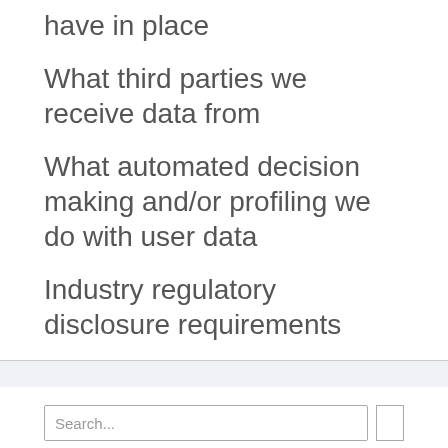have in place
What third parties we receive data from
What automated decision making and/or profiling we do with user data
Industry regulatory disclosure requirements
Search...
Recent Posts